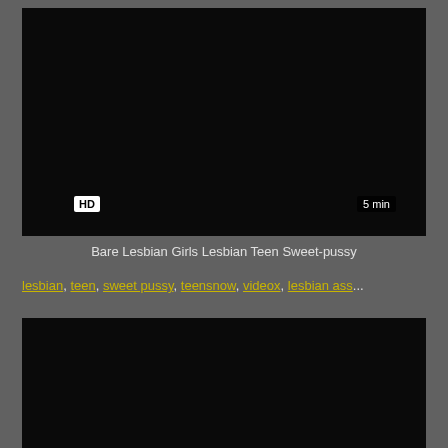[Figure (photo): Black video thumbnail with HD badge and 5 min duration label]
Bare Lesbian Girls Lesbian Teen Sweet-pussy
lesbian, teen, sweet pussy, teensnow, videox, lesbian ass...
[Figure (photo): Second black video thumbnail]